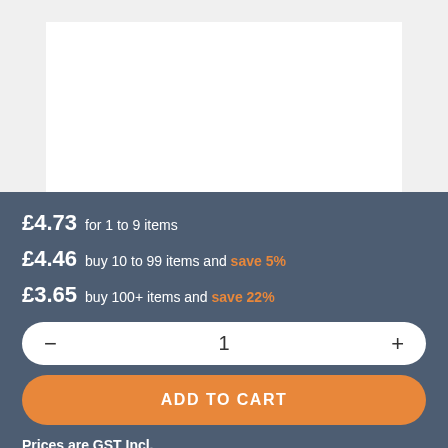[Figure (photo): Product image area showing partial view of a product against white background]
£4.73 for 1 to 9 items
£4.46 buy 10 to 99 items and save 5%
£3.65 buy 100+ items and save 22%
1
ADD TO CART
Prices are GST Incl.